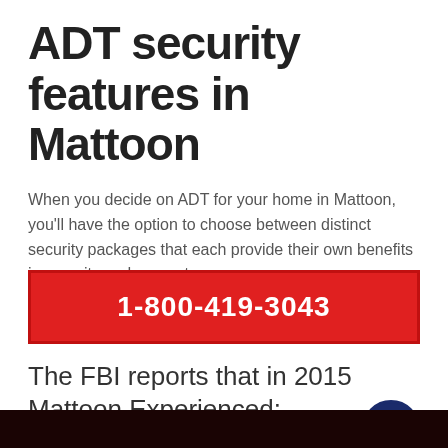ADT security features in Mattoon
When you decide on ADT for your home in Mattoon, you'll have the option to choose between distinct security packages that each provide their own benefits in security and support.
1-800-419-3043
The FBI reports that in 2015 Mattoon Experienced: